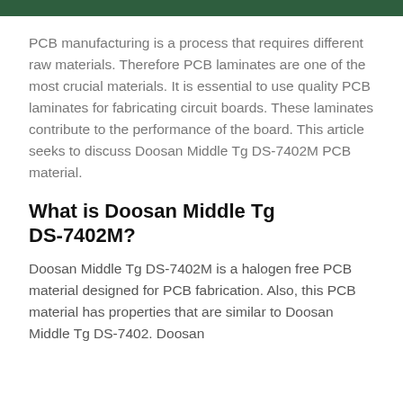PCB manufacturing is a process that requires different raw materials. Therefore PCB laminates are one of the most crucial materials. It is essential to use quality PCB laminates for fabricating circuit boards. These laminates contribute to the performance of the board. This article seeks to discuss Doosan Middle Tg DS-7402M PCB material.
What is Doosan Middle Tg DS-7402M?
Doosan Middle Tg DS-7402M is a halogen free PCB material designed for PCB fabrication. Also, this PCB material has properties that are similar to Doosan Middle Tg DS-7402. Doosan